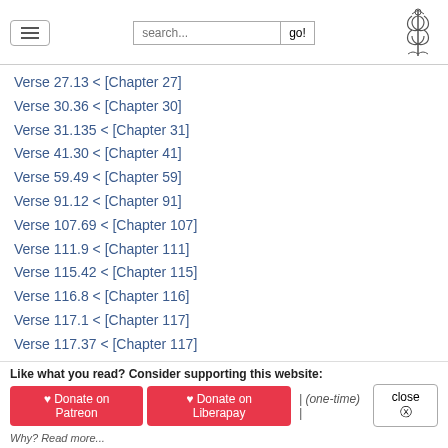search... go!
Verse 27.13 < [Chapter 27]
Verse 30.36 < [Chapter 30]
Verse 31.135 < [Chapter 31]
Verse 41.30 < [Chapter 41]
Verse 59.49 < [Chapter 59]
Verse 91.12 < [Chapter 91]
Verse 107.69 < [Chapter 107]
Verse 111.9 < [Chapter 111]
Verse 115.42 < [Chapter 115]
Verse 116.8 < [Chapter 116]
Verse 117.1 < [Chapter 117]
Verse 117.37 < [Chapter 117]
Harivamsa [appendix] [sanskrit]
Verse 29.564 < [Chapter 29]
Verse 31.187 < [Chapter 31]
Like what you read? Consider supporting this website:
♥ Donate on Patreon   ♥ Donate on Liberapay   | (one-time) |   close ⊗
Why? Read more...